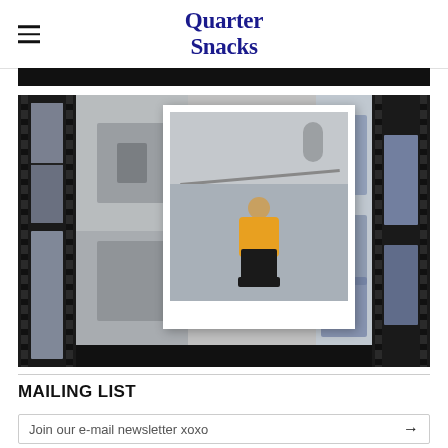Quarter Snacks
[Figure (photo): Skateboarding photo collage with film strip borders on left and right. Center polaroid photo shows a skater in a yellow hoodie sitting on concrete stairs with a skateboard. Background shows multiple skateboarding action shots in black and white.]
MAILING LIST
Join our e-mail newsletter xoxo